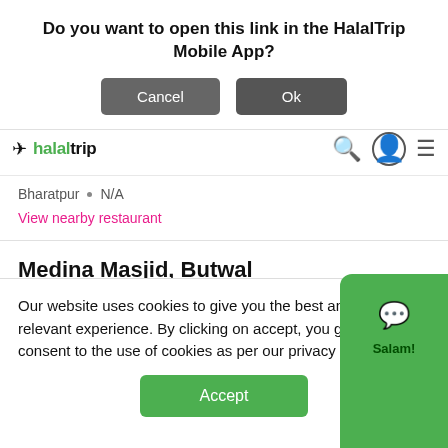Do you want to open this link in the HalalTrip Mobile App?
Cancel  Ok
[Figure (logo): HalalTrip logo with navigation icons]
Bharatpur  •  N/A
View nearby restaurant
Medina Masjid, Butwal
Medina Masjid Bikaspath Butwal Rupandehi District Nepal
Butwāl  •  N/A
Our website uses cookies to give you the best and most relevant experience. By clicking on accept, you give your consent to the use of cookies as per our privacy policy.
Accept
Salam!